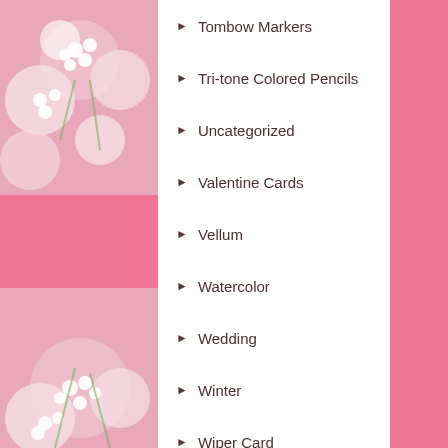Tombow Markers
Tri-tone Colored Pencils
Uncategorized
Valentine Cards
Vellum
Watercolor
Wedding
Winter
Wiper Card
Zig Clean Color Real Brush Markers
Tags
Art Impressions (110)
Art Impressions Block Letters Dies (5072) (5)